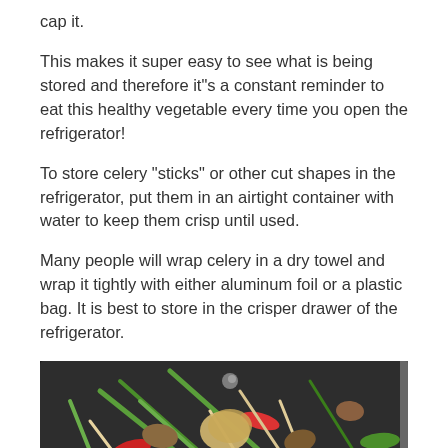cap it.
This makes it super easy to see what is being stored and therefore it"s a constant reminder to eat this healthy vegetable every time you open the refrigerator!
To store celery "sticks" or other cut shapes in the refrigerator, put them in an airtight container with water to keep them crisp until used.
Many people will wrap celery in a dry towel and wrap it tightly with either aluminum foil or a plastic bag. It is best to store in the crisper drawer of the refrigerator.
[Figure (photo): A wok or pan filled with stir-fried vegetables including celery, red peppers, green onions, bean sprouts, and other colorful vegetables with meat, viewed from above at an angle.]